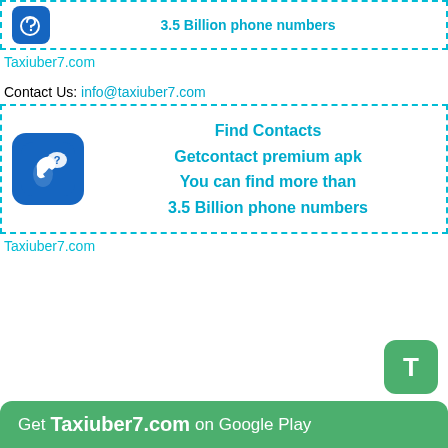[Figure (logo): Blue rounded square icon with phone and question mark, with text '3.5 Billion phone numbers' in cyan bold]
Taxiuber7.com
Contact Us: info@taxiuber7.com
[Figure (infographic): Blue phone icon with question mark bubble, with bold cyan text: Find Contacts / Getcontact premium apk / You can find more than / 3.5 Billion phone numbers]
Taxiuber7.com
[Figure (logo): Green rounded square button with letter T]
Get Taxiuber7.com on Google Play